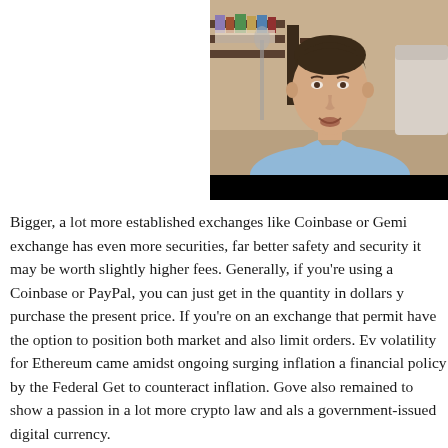[Figure (photo): A man (resembling Elon Musk) in a light blue shirt speaking, visible from shoulders up, with bookshelves in the background. The image has a black bar at the bottom.]
Bigger, a lot more established exchanges like Coinbase or Gemi exchange has even more securities, far better safety and security it may be worth slightly higher fees. Generally, if you're using a Coinbase or PayPal, you can just get in the quantity in dollars y purchase the present price. If you're on an exchange that permit have the option to position both market and also limit orders. Ev volatility for Ethereum came amidst ongoing surging inflation a financial policy by the Federal Get to counteract inflation. Gove also remained to show a passion in a lot more crypto law and als a government-issued digital currency.